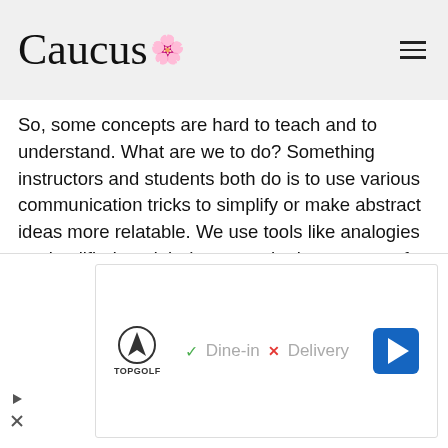Caucus
So, some concepts are hard to teach and to understand. What are we to do? Something instructors and students both do is to use various communication tricks to simplify or make abstract ideas more relatable. We use tools like analogies or simplified models (more on the importance of these shortly) to describe complex ideas. Making things more relatable can take various forms. Instructors might try to use various simlies or metaphors to take advantage of mental
[Figure (screenshot): Advertisement banner for TopGolf showing logo, Dine-in with checkmark and Delivery with X mark, and a blue navigation arrow icon]